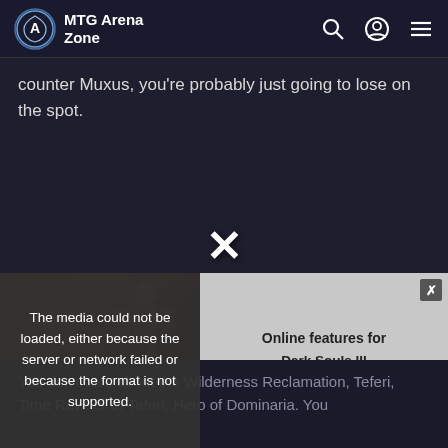MTG Arena Zone
counter Muxus, you're probably just going to lose on the spot.
[Figure (screenshot): Video player showing Dark Souls promotional image with error message: 'The media could not be loaded, either because the server or network failed or because the format is not supported.' Alongside a grey panel reading 'Online features for Dark Souls III reactivated on PC' with a close button.]
You don't care about the Wilderness Reclamation, Teferi, Time Raveler or Teferi, Hero of Dominaria. You